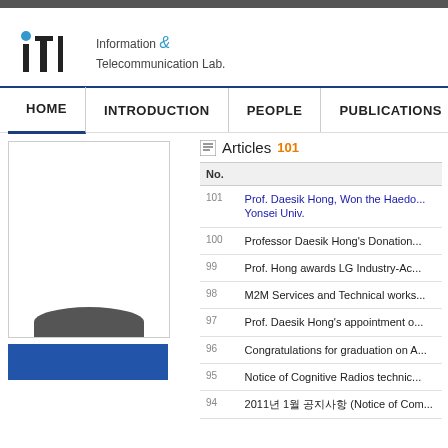ITL - Information & Telecommunication Lab.
HOME | INTRODUCTION | PEOPLE | PUBLICATIONS | R
[Figure (photo): Photo of Prof. Daesik Hong - silhouette visible at bottom of portrait frame]
Articles 101
| No. | Title |
| --- | --- |
| 101 | Prof. Daesik Hong, Won the Haedo... Yonsei Univ. |
| 100 | Professor Daesik Hong's Donation... |
| 99 | Prof. Hong awards LG Industry-Ac... |
| 98 | M2M Services and Technical works... |
| 97 | Prof. Daesik Hong's appointment o... |
| 96 | Congratulations for graduation on A... |
| 95 | Notice of Cognitive Radios technic... |
| 94 | 2011년 1월 공지사항 (Notice of Com... |